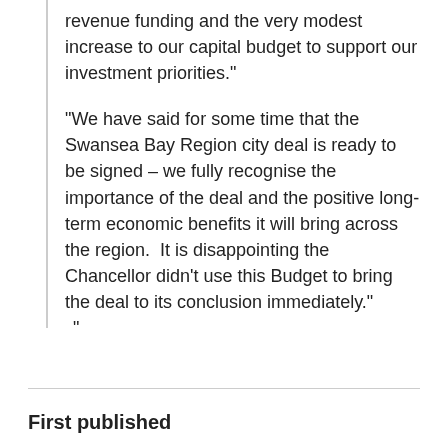revenue funding and the very modest increase to our capital budget to support our investment priorities."
“We have said for some time that the Swansea Bay Region city deal is ready to be signed – we fully recognise the importance of the deal and the positive long-term economic benefits it will bring across the region.  It is disappointing the Chancellor didn’t use this Budget to bring the deal to its conclusion immediately."
First published